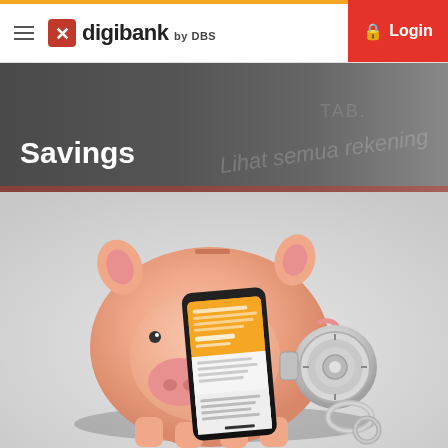digibank by DBS — Login
Savings
[Figure (photo): A pink ceramic piggy bank with a smartphone displaying a digibank DBS app screen (orange UI) leaning against it, and a silver combination lock mechanism attached to the piggy bank's side, on a light grey background.]